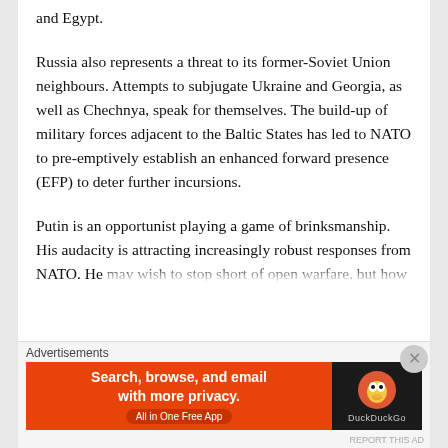and Egypt.
Russia also represents a threat to its former-Soviet Union neighbours. Attempts to subjugate Ukraine and Georgia, as well as Chechnya, speak for themselves. The build-up of military forces adjacent to the Baltic States has led to NATO to pre-emptively establish an enhanced forward presence (EFP) to deter further incursions.
Putin is an opportunist playing a game of brinksmanship. His audacity is attracting increasingly robust responses from NATO. He may wish to stop short of open warfare, but how
Advertisements
[Figure (other): DuckDuckGo advertisement banner: orange background on left with text 'Search, browse, and email with more privacy. All in One Free App' and DuckDuckGo logo on dark right panel]